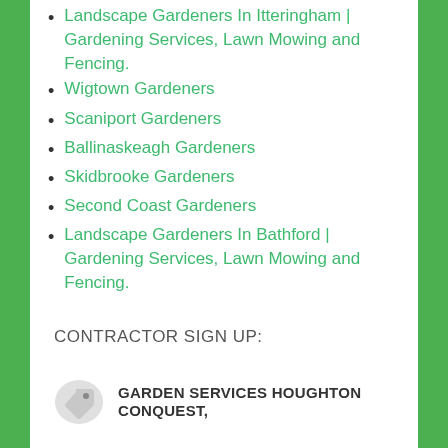Landscape Gardeners In Itteringham | Gardening Services, Lawn Mowing and Fencing.
Wigtown Gardeners
Scaniport Gardeners
Ballinaskeagh Gardeners
Skidbrooke Gardeners
Second Coast Gardeners
Landscape Gardeners In Bathford | Gardening Services, Lawn Mowing and Fencing.
CONTRACTOR SIGN UP:
GARDEN SERVICES HOUGHTON CONQUEST,